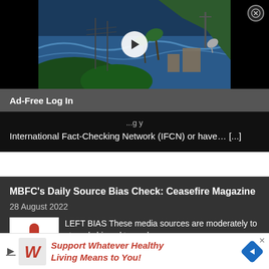[Figure (screenshot): Video player thumbnail showing a coastal scene with ocean waves, a hill with communications tower, palm trees and buildings. Black background with white play button circle in center. Close button (X in circle) in top right corner.]
Ad-Free Log In
International Fact-Checking Network (IFCN) or have… [...]
MBFC's Daily Source Bias Check: Ceasefire Magazine
28 August 2022
LEFT BIAS These media sources are moderately to strongly biased toward
[Figure (logo): Media Bias / Fact Check logo with red microphone icon on white background]
Support Whatever Healthy Living Means to You!